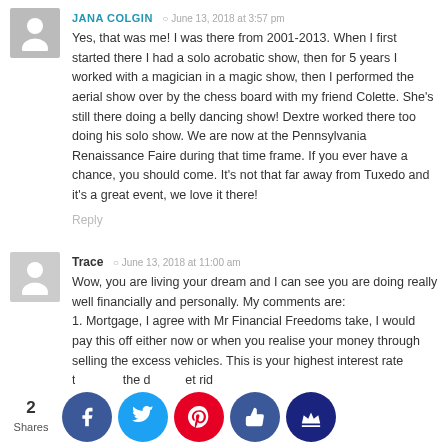JANA COLGIN · June 13, 2018 at 3:57 pm
Yes, that was me! I was there from 2001-2013. When I first started there I had a solo acrobatic show, then for 5 years I worked with a magician in a magic show, then I performed the aerial show over by the chess board with my friend Colette. She's still there doing a belly dancing show! Dextre worked there too doing his solo show. We are now at the Pennsylvania Renaissance Faire during that time frame. If you ever have a chance, you should come. It's not that far away from Tuxedo and it's a great event, we love it there!
Reply
Trace · June 13, 2018 at 11:00 am
Wow, you are living your dream and I can see you are doing really well financially and personally. My comments are:
1. Mortgage, I agree with Mr Financial Freedoms take, I would pay this off either now or when you realise your money through selling the excess vehicles. This is your highest interest rate t... the d... et rid
2. ...es, re ge...a run ar...ar, you ap... to alrea...